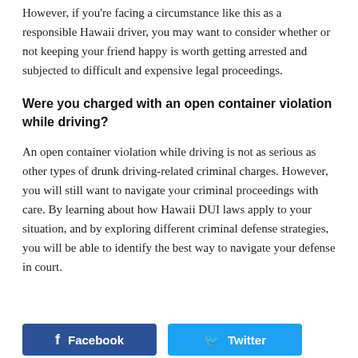However, if you're facing a circumstance like this as a responsible Hawaii driver, you may want to consider whether or not keeping your friend happy is worth getting arrested and subjected to difficult and expensive legal proceedings.
Were you charged with an open container violation while driving?
An open container violation while driving is not as serious as other types of drunk driving-related criminal charges. However, you will still want to navigate your criminal proceedings with care. By learning about how Hawaii DUI laws apply to your situation, and by exploring different criminal defense strategies, you will be able to identify the best way to navigate your defense in court.